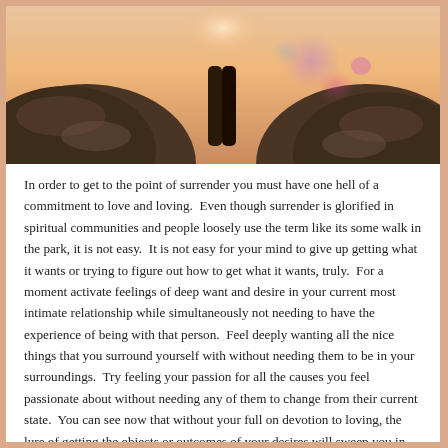[Figure (photo): Photograph of two people or animals facing each other with hands/paws touching, silhouetted against a warm sunset sky with lens flare bokeh effects in pink and purple tones.]
In order to get to the point of surrender you must have one hell of a commitment to love and loving.  Even though surrender is glorified in spiritual communities and people loosely use the term like its some walk in the park, it is not easy.  It is not easy for your mind to give up getting what it wants or trying to figure out how to get what it wants, truly.  For a moment activate feelings of deep want and desire in your current most intimate relationship while simultaneously not needing to have the experience of being with that person.  Feel deeply wanting all the nice things that you surround yourself with without needing them to be in your surroundings.  Try feeling your passion for all the causes you feel passionate about without needing any of them to change from their current state.  You can see now that without your full on devotion to loving, the lure of getting the objects or outcomes of your desires will sweep you in, captivate you and you will be powerless to it.  The only